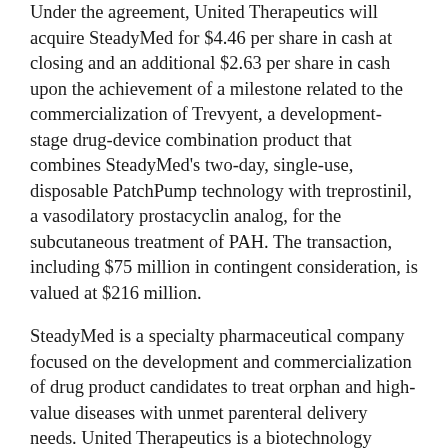Under the agreement, United Therapeutics will acquire SteadyMed for $4.46 per share in cash at closing and an additional $2.63 per share in cash upon the achievement of a milestone related to the commercialization of Trevyent, a development-stage drug-device combination product that combines SteadyMed's two-day, single-use, disposable PatchPump technology with treprostinil, a vasodilatory prostacyclin analog, for the subcutaneous treatment of PAH. The transaction, including $75 million in contingent consideration, is valued at $216 million.
SteadyMed is a specialty pharmaceutical company focused on the development and commercialization of drug product candidates to treat orphan and high-value diseases with unmet parenteral delivery needs. United Therapeutics is a biotechnology company focused on the development and commercialization of therapies for treating PAH and other orphan diseases.
The transaction is subject to customary closing conditions,